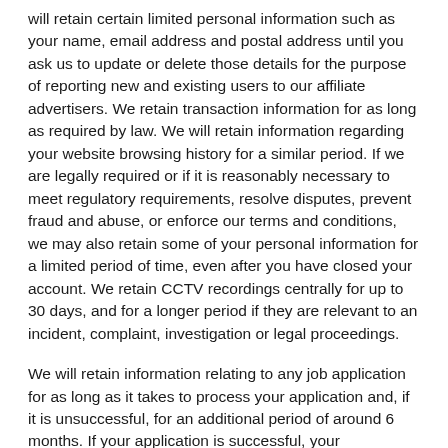will retain certain limited personal information such as your name, email address and postal address until you ask us to update or delete those details for the purpose of reporting new and existing users to our affiliate advertisers. We retain transaction information for as long as required by law. We will retain information regarding your website browsing history for a similar period. If we are legally required or if it is reasonably necessary to meet regulatory requirements, resolve disputes, prevent fraud and abuse, or enforce our terms and conditions, we may also retain some of your personal information for a limited period of time, even after you have closed your account. We retain CCTV recordings centrally for up to 30 days, and for a longer period if they are relevant to an incident, complaint, investigation or legal proceedings.
We will retain information relating to any job application for as long as it takes to process your application and, if it is unsuccessful, for an additional period of around 6 months. If your application is successful, your information will be retained in accordance with our staff privacy policy. We will retain your information for a short time beyond the specified retention period to allow for...